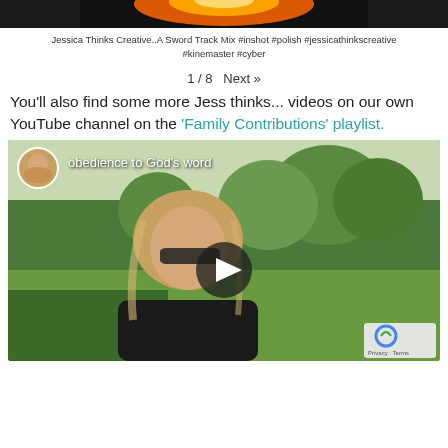[Figure (screenshot): Top portion of a video thumbnail showing fire/explosion visual with dark background and orange glow]
Jessica Thinks Creative..A Sword Track Mix #inshot #polish #jessicathinkscreative #kinemaster #cyber
1 / 8  Next »
You'll also find some more Jess thinks... videos on our own YouTube channel on the 'Family Contributions' playlist.
[Figure (screenshot): YouTube video embed showing a woman with blonde hair and sunglasses outdoors in a park/garden setting, with video title 'obedience to God's word', a play button overlay, a circular profile picture in top left, and a reCAPTCHA privacy badge in bottom right corner]